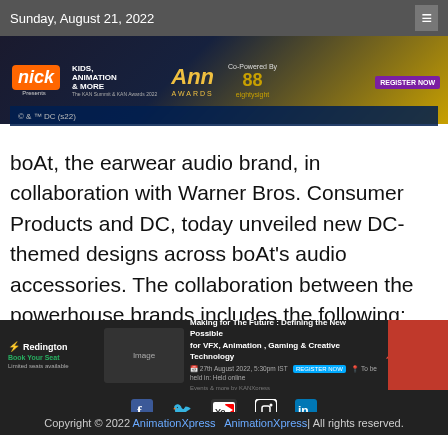Sunday, August 21, 2022
[Figure (photo): Top advertisement banner for Nick Kids Animation & More, Ann Awards, Co-Powered By eighty-eight, with REGISTER NOW button]
[Figure (screenshot): DC copyright watermark: © & ™ DC (s22)]
boAt, the earwear audio brand, in collaboration with Warner Bros. Consumer Products and DC, today unveiled new DC-themed designs across boAt's audio accessories. The collaboration between the powerhouse brands includes the following: boAt Rockerz 450 headphones in
[Figure (photo): Bottom advertisement banner: Redington, Making for The Future: Defining the New Possible for VFX, Animation, Gaming & Creative Technology, Autodesk]
[Figure (infographic): Social media icons: Facebook, Twitter, YouTube, Instagram, LinkedIn]
Copyright © 2022 AnimationXpress  AnimationXpress| All rights reserved.